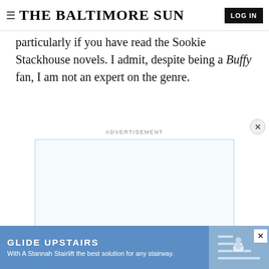THE BALTIMORE SUN
particularly if you have read the Sookie Stackhouse novels. I admit, despite being a Buffy fan, I am not an expert on the genre.
ADVERTISEMENT
[Figure (other): Advertisement box with Tribune logo at bottom, light blue border and background]
ADVERTISEMENT
[Figure (other): Banner advertisement for Glide Upstairs / Stannah Stairlift with blue background and stairlift image]